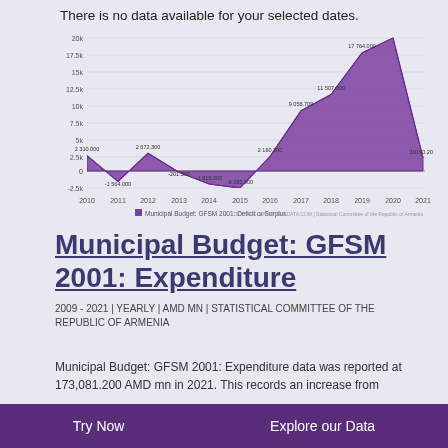There is no data available for your selected dates.
[Figure (area-chart): Municipal Budget: GFSM 2001: Deficit or Surplus]
Municipal Budget: GFSM 2001: Expenditure
2009 - 2021 | YEARLY | AMD MN | STATISTICAL COMMITTEE OF THE REPUBLIC OF ARMENIA
Municipal Budget: GFSM 2001: Expenditure data was reported at 173,081.200 AMD mn in 2021. This records an increase from